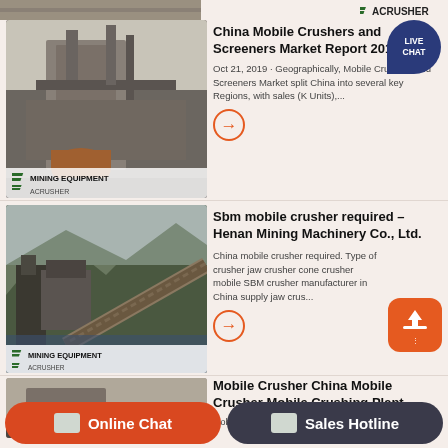[Figure (photo): Top partial image of mining/crushing equipment with ACRUSHER logo]
[Figure (photo): Mining equipment facility with large crusher structure, MINING EQUIPMENT ACRUSHER watermark]
China Mobile Crushers and Screeners Market Report 2019 ...
Oct 21, 2019 · Geographically, Mobile Crushers and Screeners Market split China into several key Regions, with sales (K Units),...
[Figure (photo): Mobile crushing plant in mountainous area with conveyor belt, MINING EQUIPMENT ACRUSHER watermark]
Sbm mobile crusher required – Henan Mining Machinery Co., Ltd.
China mobile crusher required. Type of crusher jaw crusher cone crusher mobile SBM crusher manufacturer in China supply jaw crus...
[Figure (photo): Mobile crusher equipment outdoors, partially visible]
Mobile Crusher China Mobile Crusher Mobile Crushing Plant ...
Mobile Crusher, Mobile Crusher Rubber Tyred M...
Online Chat
Sales Hotline